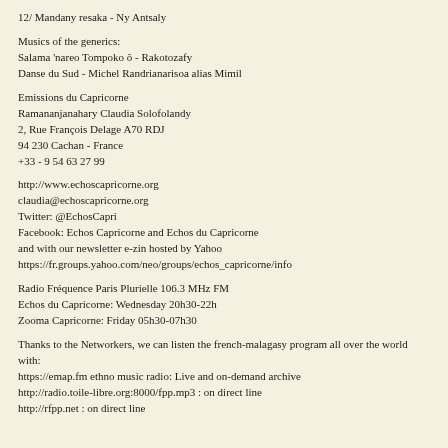12/ Mandany resaka - Ny Antsaly
Musics of the generics:
Salama 'nareo Tompoko ô - Rakotozafy
Danse du Sud - Michel Randrianarisoa alias Mimil
Emissions du Capricorne
Ramananjanahary Claudia Solofolandy
2, Rue François Delage A70 RDJ
94 230 Cachan - France
+33 - 9 54 63 27 99
http://www.echoscapricorne.org
claudia@echoscapricorne.org
Twitter: @EchosCapri
Facebook: Echos Capricorne and Echos du Capricorne
and with our newsletter e-zin hosted by Yahoo
https://fr.groups.yahoo.com/neo/groups/echos_capricorne/info
Radio Fréquence Paris Plurielle 106.3 MHz FM
Echos du Capricorne: Wednesday 20h30-22h
Zooma Capricorne: Friday 05h30-07h30
Thanks to the Networkers, we can listen the french-malagasy program all over the world with:
https://emap.fm ethno music radio: Live and on-demand archive
http://radio.toile-libre.org:8000/fpp.mp3 : on direct line
http://rfpp.net : on direct line